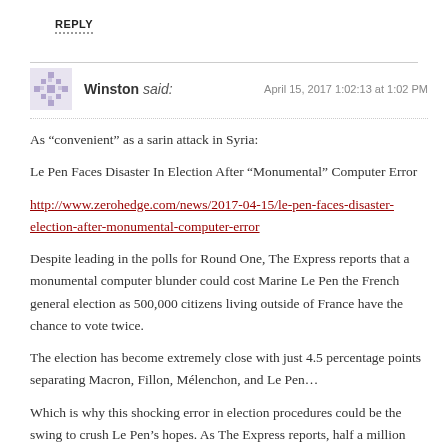REPLY
Winston said:   April 15, 2017 1:02:13 at 1:02 PM
As “convenient” as a sarin attack in Syria:
Le Pen Faces Disaster In Election After “Monumental” Computer Error
http://www.zerohedge.com/news/2017-04-15/le-pen-faces-disaster-election-after-monumental-computer-error
Despite leading in the polls for Round One, The Express reports that a monumental computer blunder could cost Marine Le Pen the French general election as 500,000 citizens living outside of France have the chance to vote twice.
The election has become extremely close with just 4.5 percentage points separating Macron, Fillon, Mélenchon, and Le Pen…
Which is why this shocking error in election procedures could be the swing to crush Le Pen’s hopes. As The Express reports, half a million people received duplicate polling cards in the post, which would allow them to cast two votes at the first round of the election, held on April 23.